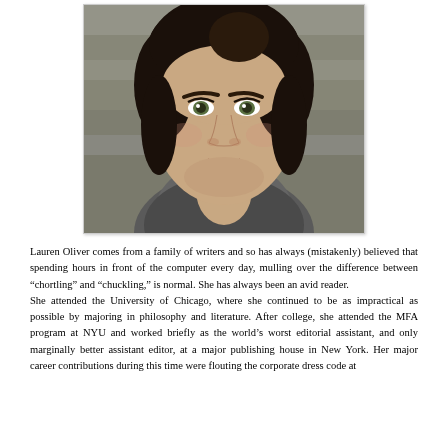[Figure (photo): Headshot photo of Lauren Oliver, a young woman with dark hair pulled back, green eyes, light olive skin, and a subtle smile. She is wearing a grey scarf/collar and is photographed against a stone wall background.]
Lauren Oliver comes from a family of writers and so has always (mistakenly) believed that spending hours in front of the computer every day, mulling over the difference between “chortling” and “chuckling,” is normal. She has always been an avid reader.
She attended the University of Chicago, where she continued to be as impractical as possible by majoring in philosophy and literature. After college, she attended the MFA program at NYU and worked briefly as the world’s worst editorial assistant, and only marginally better assistant editor, at a major publishing house in New York. Her major career contributions during this time were flouting the corporate dress code at